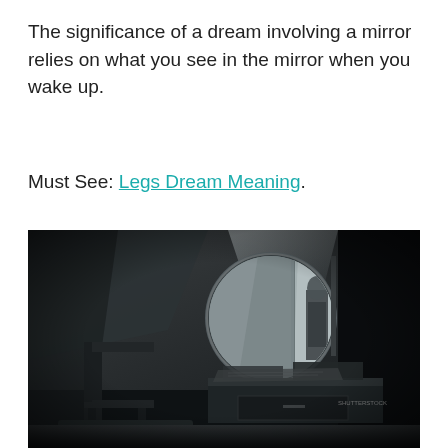The significance of a dream involving a mirror relies on what you see in the mirror when you wake up.
Must See: Legs Dream Meaning.
[Figure (photo): Dark, moody black-and-white photo of an abandoned room with a round vanity mirror on a dresser reflecting a ghostly figure standing in a doorway. A wooden chair and mattress are visible in the foreground.]